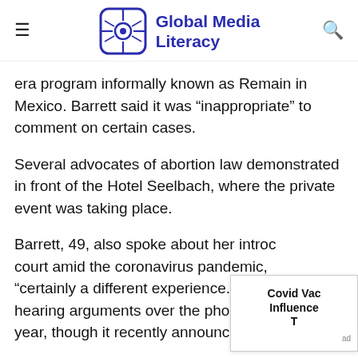Global Media Literacy
era program informally known as Remain in Mexico. Barrett said it was “inappropriate” to comment on certain cases.
Several advocates of abortion law demonstrated in front of the Hotel Seelbach, where the private event was taking place.
Barrett, 49, also spoke about her introd court amid the coronavirus pandemic, “certainly a different experience.” The hearing arguments over the phone for year, though it recently announced it w
[Figure (other): Advertisement box with text: Covid Vac Influence T]